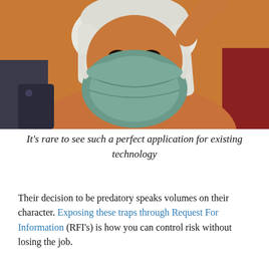[Figure (photo): Person with face covered by a teal/green cloth or fabric mask, wearing what appears to be a white cloth wrap around their head, photographed against a warm orange/tan background. The person is looking at the camera with dark eyes visible above the mask.]
It's rare to see such a perfect application for existing technology
Their decision to be predatory speaks volumes on their character. Exposing these traps through Request For Information (RFI's) is how you can control risk without losing the job.